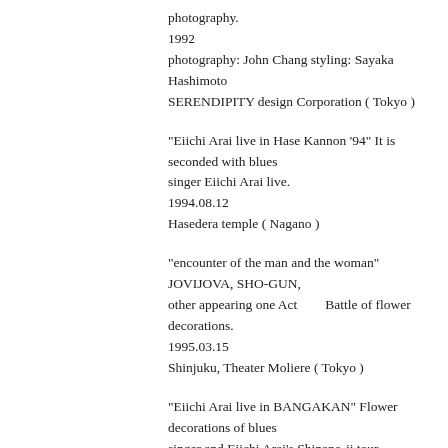photography.
1992
photography: John Chang styling: Sayaka Hashimoto SERENDIPITY design Corporation ( Tokyo )
"Eiichi Arai live in Hase Kannon '94" It is seconded with blues singer Eiichi Arai live.
1994.08.12
Hasedera temple ( Nagano )
"encounter of the man and the woman" JOVIJOVA, SHO-GUN, other appearing one Act　　Battle of flower decorations.
1995.03.15
Shinjuku, Theater Moliere ( Tokyo )
"Eiichi Arai live in BANGAKAN" Flower decorations of blues singer and Eiichi Arai's Shinano-ji tour.
1995.09.30
BANGAKAN-The apricot hometown print museum ( Nagano )
"Eiichi Arai live in MIKAKUEN" Flower decorations of blues singer and Eiichi Arai's Shinano-ji tour.
1995.10.01